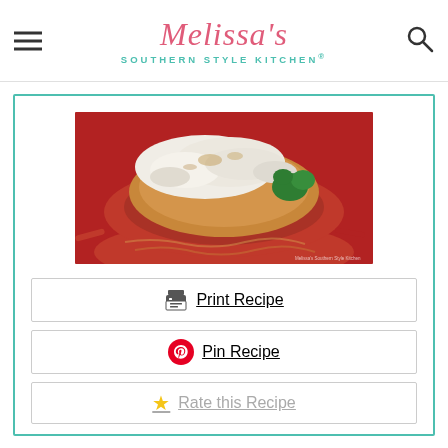Melissa's Southern Style Kitchen®
[Figure (photo): Photo of chicken parmesan with melted cheese on top, served over pasta with tomato sauce and garnished with fresh parsley on a red plate.]
🖨 Print Recipe
📌 Pin Recipe
⭐ Rate this Recipe
Saucy Chicken